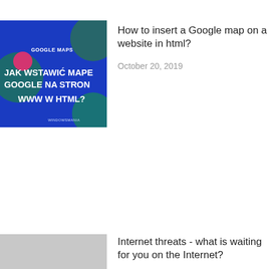[Figure (screenshot): Thumbnail image of a blog post about inserting Google Maps in HTML. Blue background with text: GOOGLE MAPS, JAK WSTAWIĆ MAPĘ GOOGLE NA STRONĘ WWW W HTML?, WINDOWSMANIA]
How to insert a Google map on a website in html?
October 20, 2019
[Figure (photo): Gray placeholder thumbnail for Internet threats article]
Internet threats - what is waiting for you on the Internet?